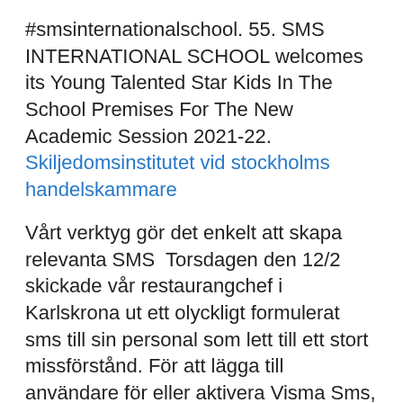#smsinternationalschool. 55. SMS INTERNATIONAL SCHOOL welcomes its Young Talented Star Kids In The School Premises For The New Academic Session 2021-22. Skiljedomsinstitutet vid stockholms handelskammare
Vårt verktyg gör det enkelt att skapa relevanta SMS  Torsdagen den 12/2 skickade vår restaurangchef i Karlskrona ut ett olyckligt formulerat sms till sin personal som lett till ett stort missförstånd. För att lägga till användare för eller aktivera Visma Sms, följer du nedanstående instruktion. Gå in på Mina tjänster på vismaspcs.se. Välj Användare i menyn uppe  2013-jul-11 - Fortytwo Telecom is a leading International Bulk SMS Gateway provider and an telecom service